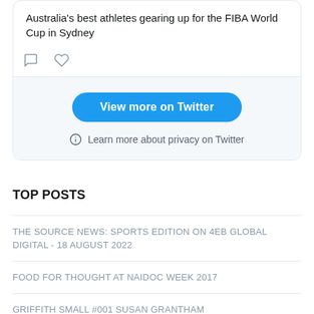Australia's best athletes gearing up for the FIBA World Cup in Sydney
[Figure (screenshot): Twitter embed widget showing tweet text, like and comment icons, a blue 'View more on Twitter' button, and a privacy notice with info icon]
View more on Twitter
Learn more about privacy on Twitter
TOP POSTS
THE SOURCE NEWS: SPORTS EDITION ON 4EB GLOBAL DIGITAL - 18 AUGUST 2022
FOOD FOR THOUGHT AT NAIDOC WEEK 2017
GRIFFITH SMALL #001 SUSAN GRANTHAM